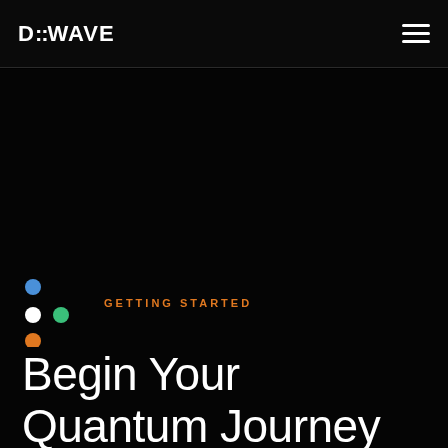D-Wave
GETTING STARTED
Begin Your Quantum Journey
Our customers are building quantum applications for problems as diverse as logistics, financial